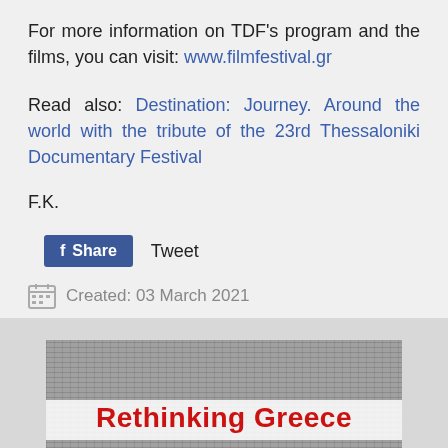For more information on TDF's program and the films, you can visit: www.filmfestival.gr
Read also: Destination: Journey. Around the world with the tribute of the 23rd Thessaloniki Documentary Festival
F.K.
f Share   Tweet
Created: 03 March 2021
[Figure (photo): Rethinking Greece banner image with newspaper collage background and red bold text reading 'Rethinking Greece']